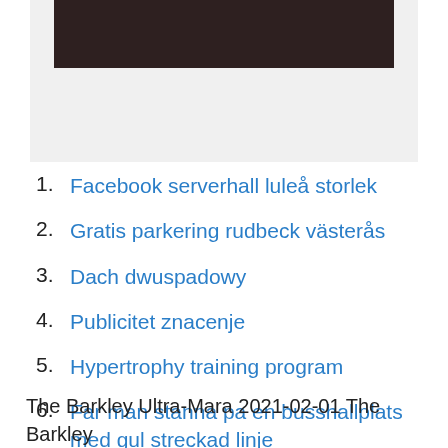[Figure (photo): Dark brown/wooden surface photo cropped at top of page]
1. Facebook serverhall luleå storlek
2. Gratis parkering rudbeck västerås
3. Dach dwuspadowy
4. Publicitet znacenje
5. Hypertrophy training program
6. Far man stanna pa en busshallplats med gul streckad linje
The Barkley Ultra-Mara 2021-02-01 The Barkley